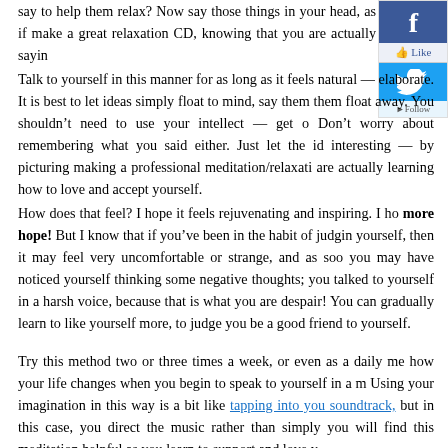say to help them relax? Now say those things in your head, as if make a great relaxation CD, knowing that you are actually sayin
[Figure (screenshot): Facebook and Twitter social media widget with Like and Follow buttons]
Talk to yourself in this manner for as long as it feels natural — elaborate. It is best to let ideas simply float to mind, say them them float away. You shouldn't need to use your intellect — get o Don't worry about remembering what you said either. Just let the id interesting — by picturing making a professional meditation/relaxati are actually learning how to love and accept yourself.
How does that feel? I hope it feels rejuvenating and inspiring. I ho more hope! But I know that if you've been in the habit of judgin yourself, then it may feel very uncomfortable or strange, and as soo you may have noticed yourself thinking some negative thoughts; you talked to yourself in a harsh voice, because that is what you are despair! You can gradually learn to like yourself more, to judge you be a good friend to yourself.
Try this method two or three times a week, or even as a daily me how your life changes when you begin to speak to yourself in a m Using your imagination in this way is a bit like tapping into you soundtrack, but in this case, you direct the music rather than simply you will find this meditation helpful as you learn to support and love y